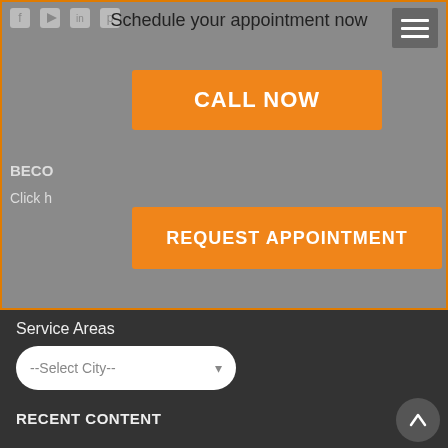[Figure (screenshot): Website header with social media icons (Facebook, YouTube, LinkedIn, Pinterest)]
Schedule your appointment now
[Figure (other): Hamburger menu button (three horizontal lines on grey background)]
CALL NOW
BECO
Click h
REQUEST APPOINTMENT
Service Areas
--Select City--
RECENT CONTENT
[Figure (photo): Circular thumbnail photo of a person for article 1]
12 Simple Tips to Look Younger Naturally and Have More Energy
August 19, 2022
[Figure (photo): Circular thumbnail photo of a person for article 2]
Six 5-minute Energy Boosters You Can Do Anywhere
August 13, 2022